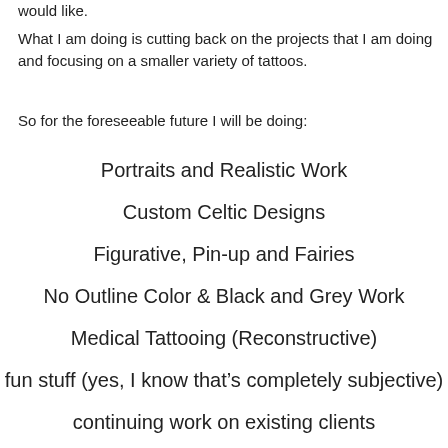would like.
What I am doing is cutting back on the projects that I am doing and focusing on a smaller variety of tattoos.
So for the foreseeable future I will be doing:
Portraits and Realistic Work
Custom Celtic Designs
Figurative, Pin-up and Fairies
No Outline Color & Black and Grey Work
Medical Tattooing (Reconstructive)
fun stuff (yes, I know that’s completely subjective)
continuing work on existing clients